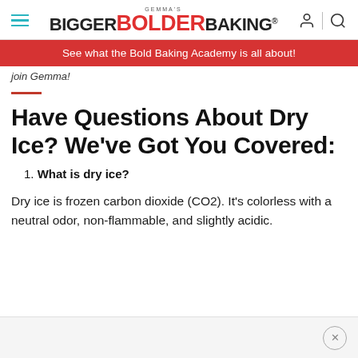GEMMA'S BIGGER BOLDER BAKING®
See what the Bold Baking Academy is all about!
join Gemma!
Have Questions About Dry Ice? We've Got You Covered:
1. What is dry ice?
Dry ice is frozen carbon dioxide (CO2). It's colorless with a neutral odor, non-flammable, and slightly acidic.